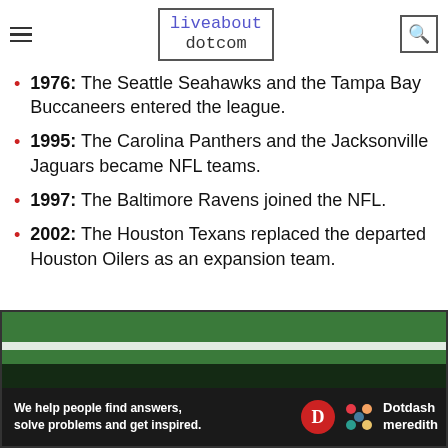liveabout dotcom
1976: The Seattle Seahawks and the Tampa Bay Buccaneers entered the league.
1995: The Carolina Panthers and the Jacksonville Jaguars became NFL teams.
1997: The Baltimore Ravens joined the NFL.
2002: The Houston Texans replaced the departed Houston Oilers as an expansion team.
[Figure (photo): Football field with yard line marking visible, player's hand/arm visible on grass]
We help people find answers, solve problems and get inspired. Dotdash meredith